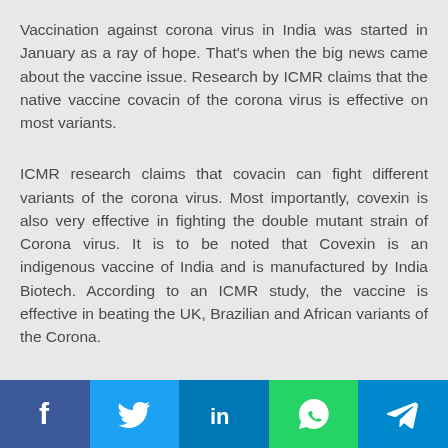Vaccination against corona virus in India was started in January as a ray of hope. That's when the big news came about the vaccine issue. Research by ICMR claims that the native vaccine covacin of the corona virus is effective on most variants.
ICMR research claims that covacin can fight different variants of the corona virus. Most importantly, covexin is also very effective in fighting the double mutant strain of Corona virus. It is to be noted that Covexin is an indigenous vaccine of India and is manufactured by India Biotech. According to an ICMR study, the vaccine is effective in beating the UK, Brazilian and African variants of the Corona.
[Figure (infographic): Social media share buttons row: Facebook (blue), Twitter (light blue), LinkedIn (dark blue), WhatsApp (green), Telegram (cyan-blue)]